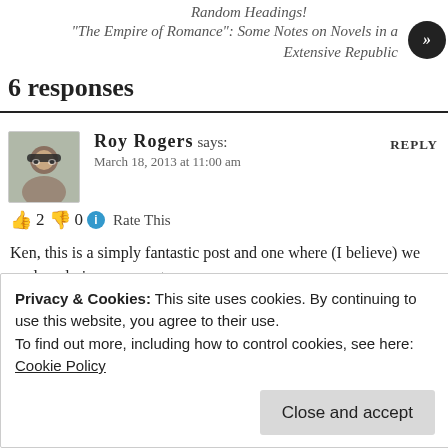Random Headings!
“The Empire of Romance”: Some Notes on Novels in an Extensive Republic
6 responses
Roy Rogers says:
March 18, 2013 at 11:00 am
👍 2 👎 0 ⓘ Rate This
Ken, this is a simply fantastic post and one where (I believe) we are largely in agreement.
Privacy & Cookies: This site uses cookies. By continuing to use this website, you agree to their use.
To find out more, including how to control cookies, see here: Cookie Policy